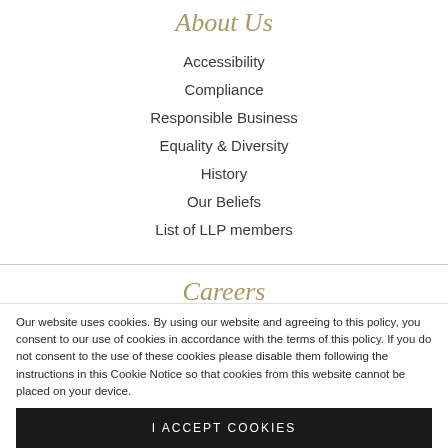About Us
Accessibility
Compliance
Responsible Business
Equality & Diversity
History
Our Beliefs
List of LLP members
Careers
Our website uses cookies. By using our website and agreeing to this policy, you consent to our use of cookies in accordance with the terms of this policy. If you do not consent to the use of these cookies please disable them following the instructions in this Cookie Notice so that cookies from this website cannot be placed on your device.
I ACCEPT COOKIES